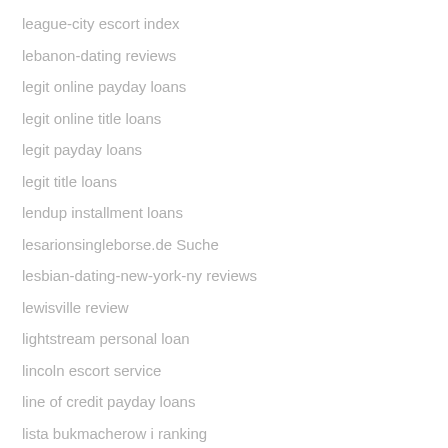league-city escort index
lebanon-dating reviews
legit online payday loans
legit online title loans
legit payday loans
legit title loans
lendup installment loans
lesarionsingleborse.de Suche
lesbian-dating-new-york-ny reviews
lewisville review
lightstream personal loan
lincoln escort service
line of credit payday loans
lista bukmacherow i ranking
little armenia como funciona